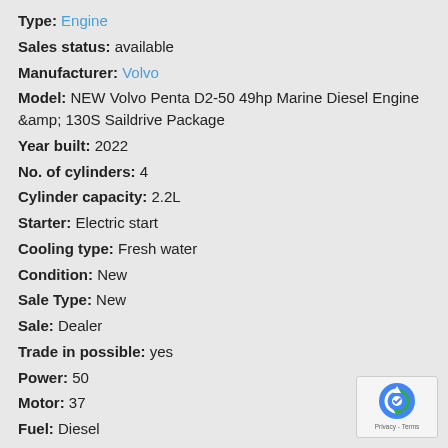Type: Engine
Sales status: available
Manufacturer: Volvo
Model: NEW Volvo Penta D2-50 49hp Marine Diesel Engine &amp; 130S Saildrive Package
Year built: 2022
No. of cylinders: 4
Cylinder capacity: 2.2L
Starter: Electric start
Cooling type: Fresh water
Condition: New
Sale Type: New
Sale: Dealer
Trade in possible: yes
Power: 50
Motor: 37
Fuel: Diesel
Price Options: new price